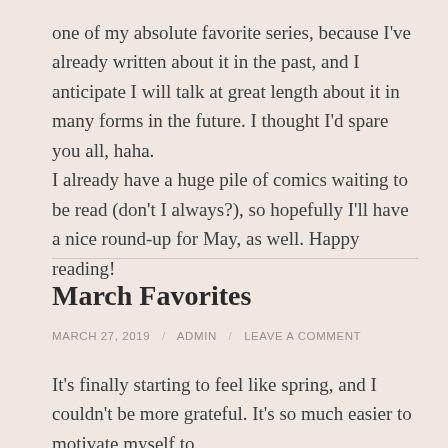one of my absolute favorite series, because I've already written about it in the past, and I anticipate I will talk at great length about it in many forms in the future. I thought I'd spare you all, haha.
I already have a huge pile of comics waiting to be read (don't I always?), so hopefully I'll have a nice round-up for May, as well. Happy reading!
March Favorites
MARCH 27, 2019 / ADMIN / LEAVE A COMMENT
It's finally starting to feel like spring, and I couldn't be more grateful. It's so much easier to motivate myself to